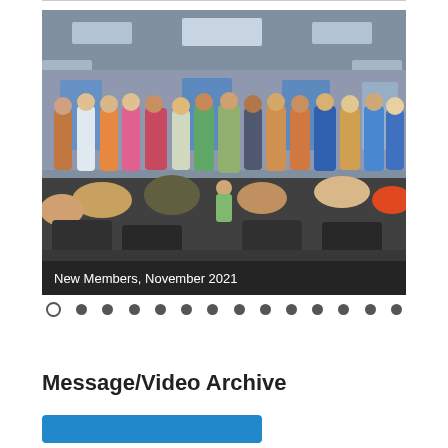[Figure (photo): Group photo of new church members standing in a row at the front of a meeting room with seated congregation visible in foreground. Caption reads 'New Members, November 2021'.]
New Members, November 2021
Message/Video Archive